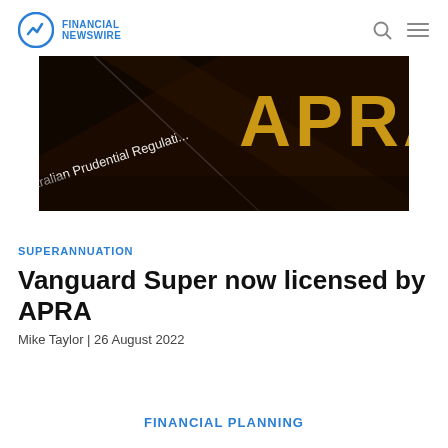FINANCIAL NEWSWIRE
[Figure (photo): Close-up photo of the Australian Prudential Regulation Authority (APRA) signage with gold/yellow lettering on dark background, partially showing 'Australian Prudential Regulati...' and 'APRA']
SUPERANNUATION
Vanguard Super now licensed by APRA
Mike Taylor | 26 August 2022
FINANCIAL PLANNING